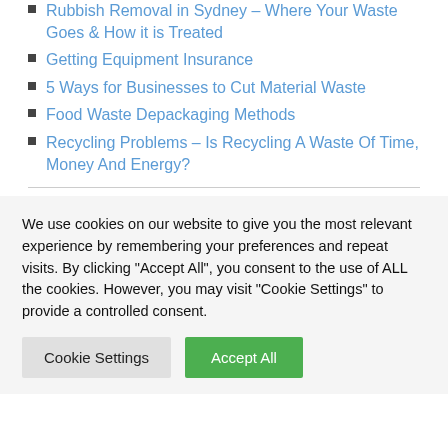Rubbish Removal in Sydney – Where Your Waste Goes & How it is Treated
Getting Equipment Insurance
5 Ways for Businesses to Cut Material Waste
Food Waste Depackaging Methods
Recycling Problems – Is Recycling A Waste Of Time, Money And Energy?
We use cookies on our website to give you the most relevant experience by remembering your preferences and repeat visits. By clicking "Accept All", you consent to the use of ALL the cookies. However, you may visit "Cookie Settings" to provide a controlled consent.
Cookie Settings | Accept All